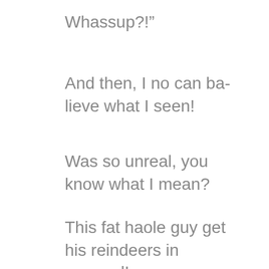Whassup?!”
And then, I no can ba-lieve what I seen!
Was so unreal, you know what I mean?
This fat haole guy get his reindeers in my yard!
And reindeers not housebroken, you know, as’ why hard!
But nemmind, this Christmas, so I cut